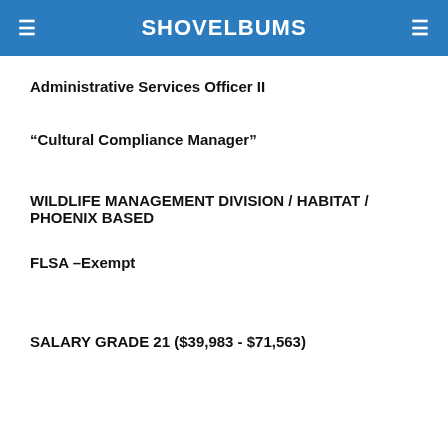SHOVELBUMS
Administrative Services Officer II
“Cultural Compliance Manager”
WILDLIFE MANAGEMENT DIVISION / HABITAT / PHOENIX BASED
FLSA –Exempt
SALARY GRADE 21 ($39,983 - $71,563)